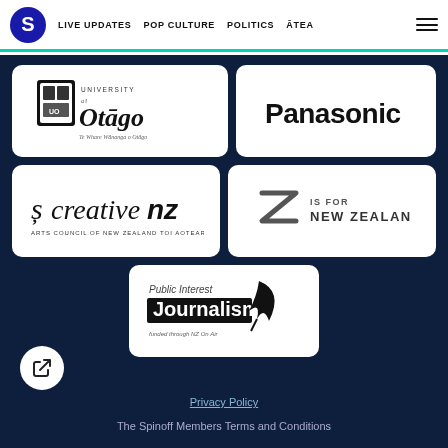S | LIVE UPDATES | POP CULTURE | POLITICS | ĀTEA
[Figure (logo): University of Otago logo - crest with university name]
[Figure (logo): Panasonic logo - black bold text]
[Figure (logo): Creative NZ - Arts Council of New Zealand Toi Aotearoa logo]
[Figure (logo): Z Is For New Zealand logo with Z arrow symbol]
[Figure (logo): Public Interest Journalism - funded through NZ On Air logo with quill]
[Figure (illustration): Share/export button icon in white circle]
Privacy Policy
The Spinoff Members Terms and Conditions